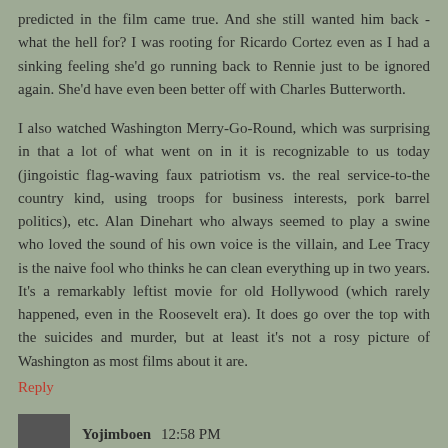predicted in the film came true. And she still wanted him back - what the hell for? I was rooting for Ricardo Cortez even as I had a sinking feeling she'd go running back to Rennie just to be ignored again. She'd have even been better off with Charles Butterworth.
I also watched Washington Merry-Go-Round, which was surprising in that a lot of what went on in it is recognizable to us today (jingoistic flag-waving faux patriotism vs. the real service-to-the country kind, using troops for business interests, pork barrel politics), etc. Alan Dinehart who always seemed to play a swine who loved the sound of his own voice is the villain, and Lee Tracy is the naive fool who thinks he can clean everything up in two years. It's a remarkably leftist movie for old Hollywood (which rarely happened, even in the Roosevelt era). It does go over the top with the suicides and murder, but at least it's not a rosy picture of Washington as most films about it are.
Reply
Yojimboen 12:58 PM